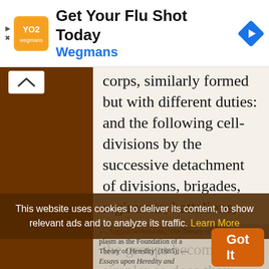[Figure (screenshot): Advertisement banner: Wegmans 'Get Your Flu Shot Today' ad with orange logo and navigation arrow icon]
corps, similarly formed but with different duties: and the following cell-divisions by the successive detachment of divisions, brigades, regiments, battalions, companies, etc.; and as the groups become simpler so does their sphere of action become limited.
This website uses cookies to deliver its content, to show relevant ads and to analyze its traffic. Learn More
— August Weismann, 'The Theory of the Germ-plasm as the Foundation of a Theory of Heredity' (1885); Essays upon Heredity and